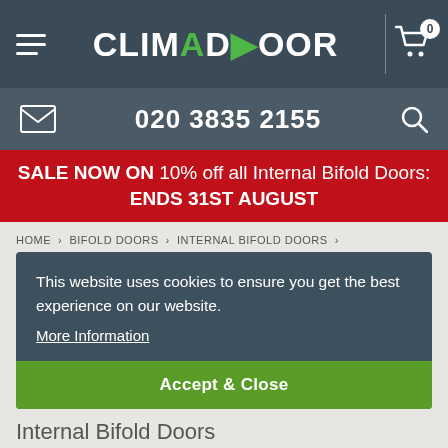CLIMADOOR
020 3835 2155
SALE NOW ON 10% off all Internal Bifold Doors: ENDS 31ST AUGUST
HOME › BIFOLD DOORS › INTERNAL BIFOLD DOORS ›
This website uses cookies to ensure you get the best experience on our website. More Information
Accept & Close
Internal Bifold Doors